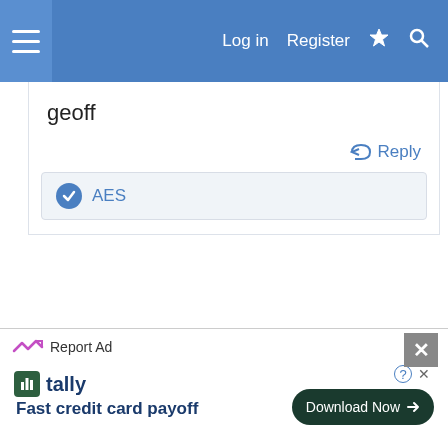Log in  Register
geoff
Reply
AES
Advertisement
Report Ad   Fast credit card payoff   Download Now